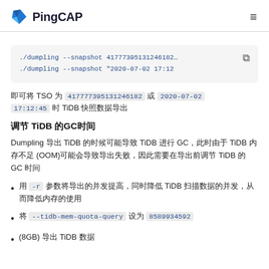PingCAP
[Figure (screenshot): Code block showing two dumpling --snapshot command examples]
即可将 TSO 为 417777395131246182 或 2020-07-02 17:12:45 时的 TiDB 快照数据导出
调节 TiDB 的 GC 时间
Dumpling 导出 TiDB 的时候可能导致 TiDB 进行 GC，此时由于 TiDB 内存不足 (OOM)可能会导致导出失败，因此需要在导出前调节 TiDB 的 GC 时间
用 -r 参数将导出的并发提高，同时降低 TiDB 扫描数据的并发，从而降低内存的使用
将 --tidb-mem-quota-query 设为 8589934592 (8GB)，TiDB 查询的内存限制
(8GB) 导出 TiDB 数据